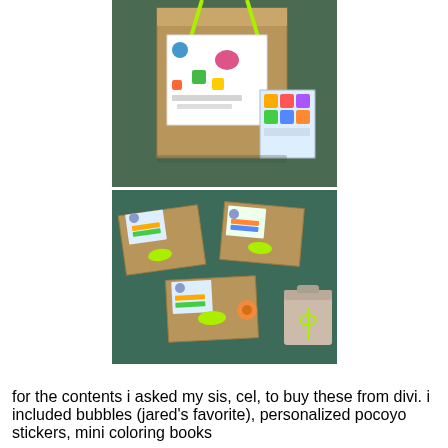[Figure (photo): Top photo: a brown kraft paper gift bag with a colorful decorated tag and a neon green ribbon handle, sitting on a blue foam mat background. A smaller tag with alphabet blocks design is visible in front.]
[Figure (photo): Bottom photo: several flat kraft paper gift boxes/packages laid out on a blue foam mat, decorated with personalized tags tied with neon green and orange ribbons. A small gable-style box is visible on the right.]
for the contents i asked my sis, cel, to buy these from divi. i included bubbles (jared's favorite), personalized pocoyo stickers, mini coloring books